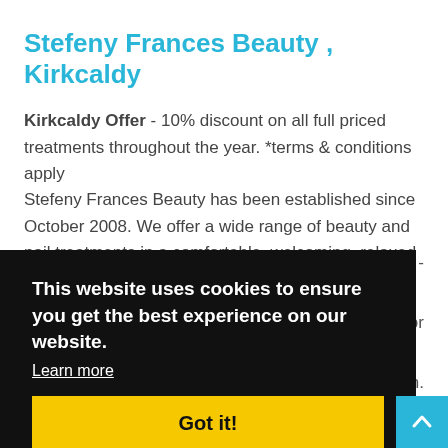Stefeny Frances Beauty , Kirkcaldy
Kirkcaldy Offer - 10% discount on all full priced treatments throughout the year. *terms & conditions apply Stefeny Frances Beauty has been established since October 2008. We offer a wide range of beauty and nail treatments in a comfortable, welcoming, relaxed environment. Our staff are fully...
This website uses cookies to ensure you get the best experience on our website. Learn more Got it!